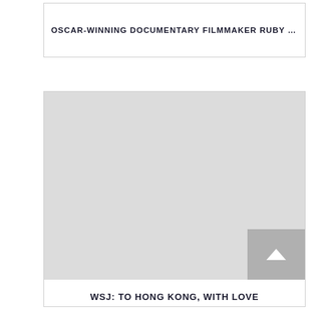OSCAR-WINNING DOCUMENTARY FILMMAKER RUBY …
[Figure (photo): Large gray placeholder image area with a scroll-to-top button in the bottom right corner]
WSJ: TO HONG KONG, WITH LOVE